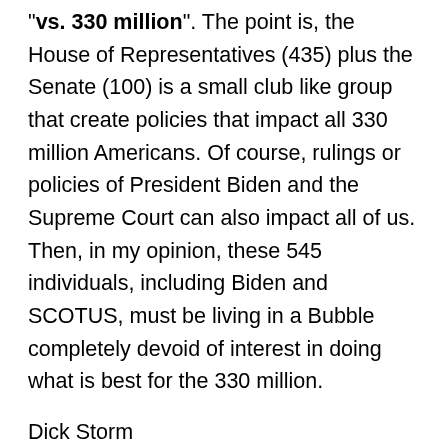"vs. 330 million". The point is, the House of Representatives (435) plus the Senate (100) is a small club like group that create policies that impact all 330 million Americans. Of course, rulings or policies of President Biden and the Supreme Court can also impact all of us. Then, in my opinion, these 545 individuals, including Biden and SCOTUS, must be living in a Bubble completely devoid of interest in doing what is best for the 330 million.
Dick Storm
March 2, 2021